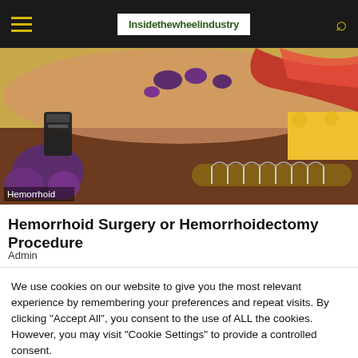Insidethewheelindustry
[Figure (photo): Medical anatomical model showing a cross-section of hemorrhoid tissue with surgical stapler device visible. Label 'Hemorrhoid' shown in bottom-left corner of image.]
Hemorrhoid Surgery or Hemorrhoidectomy Procedure
Admin
We use cookies on our website to give you the most relevant experience by remembering your preferences and repeat visits. By clicking "Accept All", you consent to the use of ALL the cookies. However, you may visit "Cookie Settings" to provide a controlled consent.